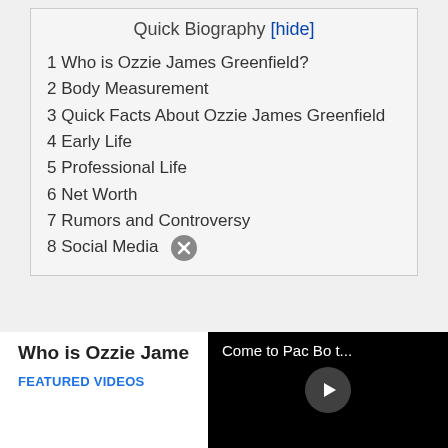Quick Biography [hide]
1 Who is Ozzie James Greenfield?
2 Body Measurement
3 Quick Facts About Ozzie James Greenfield
4 Early Life
5 Professional Life
6 Net Worth
7 Rumors and Controversy
8 Social Media
Who is Ozzie Jame…
FEATURED VIDEOS
[Figure (screenshot): Video player overlay with text 'Come to Pac Bo t...' and a play button on black background]